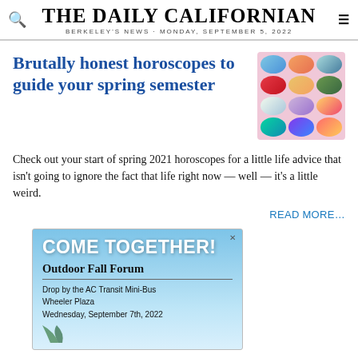THE DAILY CALIFORNIAN — BERKELEY'S NEWS · MONDAY, SEPTEMBER 5, 2022
Brutally honest horoscopes to guide your spring semester
[Figure (illustration): Thumbnail image showing zodiac sign illustrations arranged in a grid on a pink background]
Check out your start of spring 2021 horoscopes for a little life advice that isn't going to ignore the fact that life right now — well — it's a little weird.
READ MORE…
[Figure (infographic): Advertisement banner with sky blue gradient background. Text reads 'COME TOGETHER!' in large white bold letters, 'Outdoor Fall Forum' as subheading, then 'Drop by the AC Transit Mini-Bus / Wheeler Plaza / Wednesday, September 7th, 2022' with palm tree decorations at the bottom.]